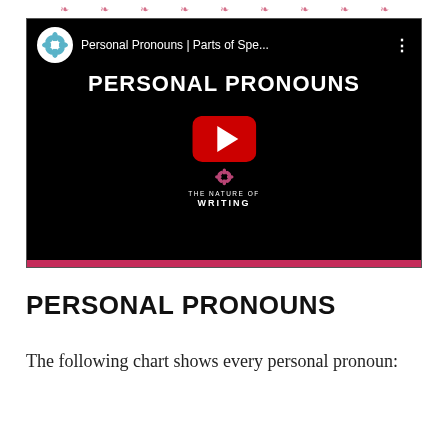[Figure (screenshot): YouTube video thumbnail for 'Personal Pronouns | Parts of Spe...' from The Nature of Writing channel. Black background with white bold text 'PERSONAL PRONOUNS', a red YouTube play button, and the channel logo and branding. A pink/red progress bar runs along the bottom.]
PERSONAL PRONOUNS
The following chart shows every personal pronoun: